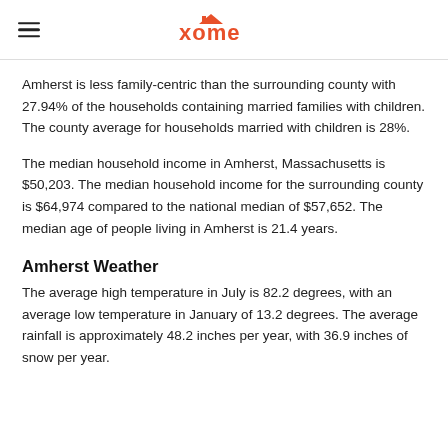Xome logo and hamburger menu
Amherst is less family-centric than the surrounding county with 27.94% of the households containing married families with children. The county average for households married with children is 28%.
The median household income in Amherst, Massachusetts is $50,203. The median household income for the surrounding county is $64,974 compared to the national median of $57,652. The median age of people living in Amherst is 21.4 years.
Amherst Weather
The average high temperature in July is 82.2 degrees, with an average low temperature in January of 13.2 degrees. The average rainfall is approximately 48.2 inches per year, with 36.9 inches of snow per year.